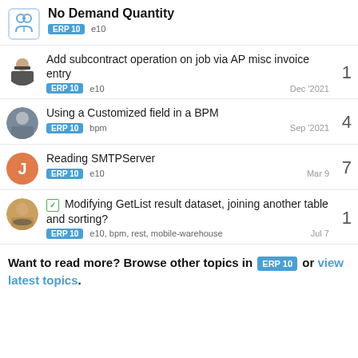No Demand Quantity — ERP 10, e10
Add subcontract operation on job via AP misc invoice entry | ERP 10 e10 | Dec '2021 | replies: 1
Using a Customized field in a BPM | ERP 10 bpm | Sep '2021 | replies: 4
Reading SMTPServer | ERP 10 e10 | Mar 9 | replies: 7
[solved] Modifying GetList result dataset, joining another table and sorting? | ERP 10 e10, bpm, rest, mobile-warehouse | Jul 7 | replies: 1
Want to read more? Browse other topics in ERP 10 or view latest topics.